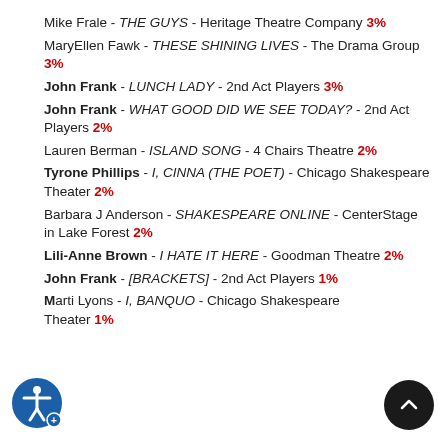Mike Frale - THE GUYS - Heritage Theatre Company 3%
MaryEllen Fawk - THESE SHINING LIVES - The Drama Group 3%
John Frank - LUNCH LADY - 2nd Act Players 3%
John Frank - WHAT GOOD DID WE SEE TODAY? - 2nd Act Players 2%
Lauren Berman - ISLAND SONG - 4 Chairs Theatre 2%
Tyrone Phillips - I, CINNA (THE POET) - Chicago Shakespeare Theater 2%
Barbara J Anderson - SHAKESPEARE ONLINE - CenterStage in Lake Forest 2%
Lili-Anne Brown - I HATE IT HERE - Goodman Theatre 2%
John Frank - [BRACKETS] - 2nd Act Players 1%
Marti Lyons - I, BANQUO - Chicago Shakespeare Theater 1%